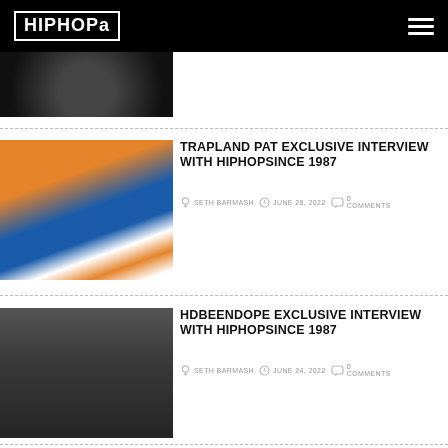HIPHOP3 [logo with hamburger menu]
[Figure (photo): Partial article thumbnail - dark circular image at top]
TRAPLAND PAT EXCLUSIVE INTERVIEW WITH HIPHOPSINCE 1987
SETH BARMASH   JUNE 28, 2022   0 COMMENTS
[Figure (photo): People holding a Haitian flag outdoors]
HDBEENDOPE EXCLUSIVE INTERVIEW WITH HIPHOPSINCE 1987
SETH BARMASH   JUNE 24, 2022   0 COMMENTS
[Figure (photo): Man in black cap with gold rings posing]
EE CHARM EXCLUSIVE INTERVIEW WITH